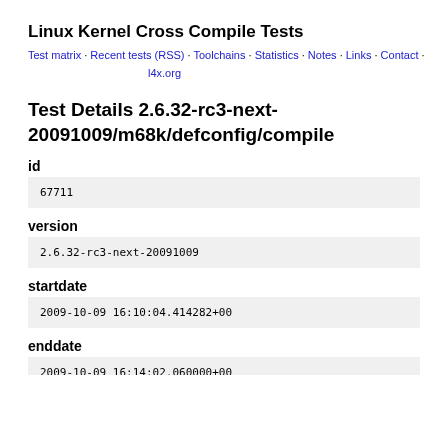Linux Kernel Cross Compile Tests
Test matrix · Recent tests (RSS) · Toolchains · Statistics · Notes · Links · Contact · l4x.org
Test Details 2.6.32-rc3-next-20091009/m68k/defconfig/compile
id
67711
version
2.6.32-rc3-next-20091009
startdate
2009-10-09 16:10:04.414282+00
enddate